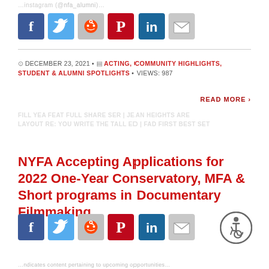[Figure (illustration): Row of social media sharing icons: Facebook (blue), Twitter (light blue), Reddit (gray), Pinterest (red), LinkedIn (dark blue/teal), Email (gray)]
DECEMBER 23, 2021 • ACTING, COMMUNITY HIGHLIGHTS, STUDENT & ALUMNI SPOTLIGHTS • VIEWS: 987
READ MORE ›
NYFA Accepting Applications for 2022 One-Year Conservatory, MFA & Short programs in Documentary Filmmaking
[Figure (illustration): Row of social media sharing icons: Facebook (blue), Twitter (light blue), Reddit (gray), Pinterest (red), LinkedIn (dark blue/teal), Email (gray); plus accessibility icon (person in wheelchair) in bottom right]